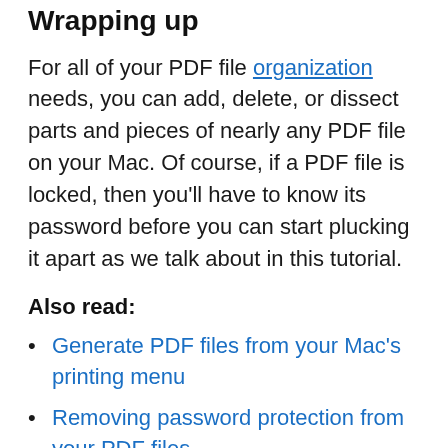Wrapping up
For all of your PDF file organization needs, you can add, delete, or dissect parts and pieces of nearly any PDF file on your Mac. Of course, if a PDF file is locked, then you’ll have to know its password before you can start plucking it apart as we talk about in this tutorial.
Also read:
Generate PDF files from your Mac’s printing menu
Removing password protection from your PDF files
How to encrypt PDF files for security